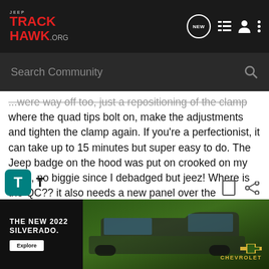JEEP TRACKHAWK.ORG
...were way off too, just a repositioning of the clamp where the quad tips bolt on, make the adjustments and tighten the clamp again. If you're a perfectionist, it can take up to 15 minutes but super easy to do. The Jeep badge on the hood was put on crooked on my Jeep, no biggie since I debadged but jeez! Where is the QC?? it also needs a new panel over the subwoofer due to poor figment and rattles with the bass as well as a driver's seat track (FCA has agreed to these fixes) but I found some defects in the dash that I'm having to escalate since local dealership says they can not authorize the dash replacement.
[Figure (screenshot): Advertisement banner for The New 2022 Silverado by Chevrolet with an Explore button and a truck image on a dark green background]